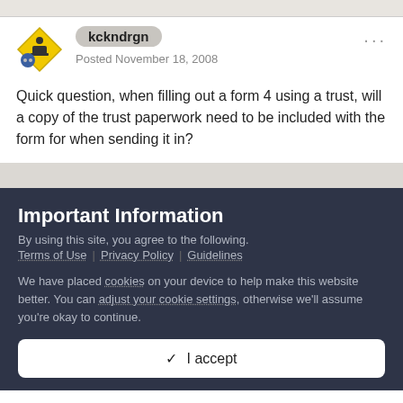[Figure (logo): Yellow diamond warning sign with person at desk icon, with blue circular badge overlay]
kckndrgn
Posted November 18, 2008
Quick question, when filling out a form 4 using a trust, will a copy of the trust paperwork need to be included with the form for when sending it in?
Important Information
By using this site, you agree to the following.
Terms of Use | Privacy Policy | Guidelines
We have placed cookies on your device to help make this website better. You can adjust your cookie settings, otherwise we'll assume you're okay to continue.
✓  I accept